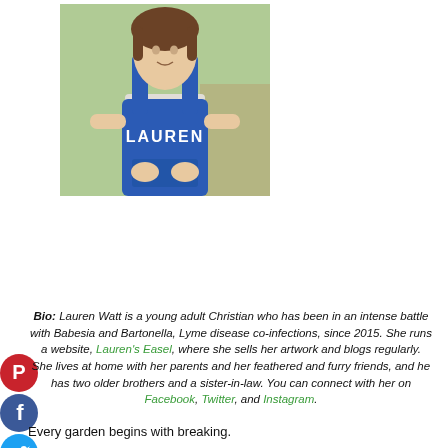[Figure (photo): Young woman wearing a blue apron with the name LAUREN printed on it in white letters, standing outdoors with trees and a wooden fence in the background.]
Bio: Lauren Watt is a young adult Christian who has been in an intense battle with Babesia and Bartonella, Lyme disease co-infections, since 2015. She runs a website, Lauren's Easel, where she sells her artwork and blogs regularly. She lives at home with her parents and her feathered and furry friends, and he has two older brothers and a sister-in-law. You can connect with her on Facebook, Twitter, and Instagram.
Every garden begins with breaking.